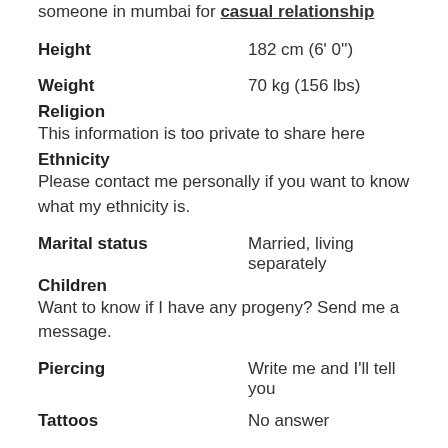someone in mumbai for casual relationship
Height: 182 cm (6' 0")
Weight: 70 kg (156 lbs)
Religion
This information is too private to share here
Ethnicity
Please contact me personally if you want to know what my ethnicity is.
Marital status: Married, living separately
Children
Want to know if I have any progeny? Send me a message.
Piercing: Write me and I'll tell you
Tattoos: No answer
Hair: Dark
Body: Athletic